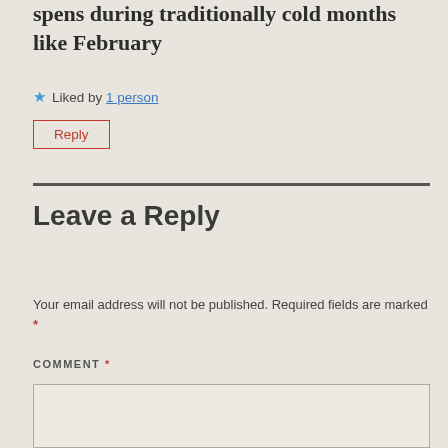spens during traditionally cold months like February
★ Liked by 1 person
Reply
Leave a Reply
Your email address will not be published. Required fields are marked *
COMMENT *